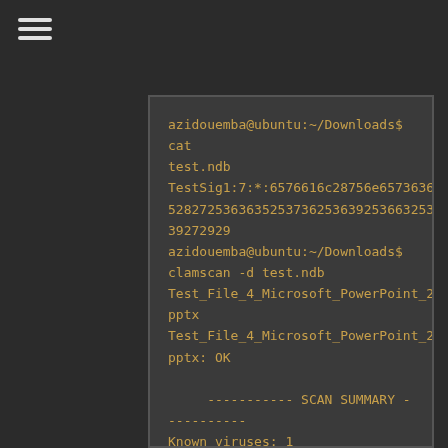[Figure (screenshot): Hamburger menu icon (three horizontal lines) in top-left corner]
azidouemba@ubuntu:~/Downloads$ cat test.ndb
TestSig1:7:*:6576616c28756e657363617065282725363635253736253639253663253238253239272929
azidouemba@ubuntu:~/Downloads$ clamscan -d test.ndb Test_File_4_Microsoft_PowerPoint_2011.pptx
Test_File_4_Microsoft_PowerPoint_2011.pptx: OK

----------- SCAN SUMMARY -----------
Known viruses: 1
Engine version: 0.97.3
Scanned directories: 0
Scanned files: 1
Infected files: 0
Data scanned: 0.36 MB